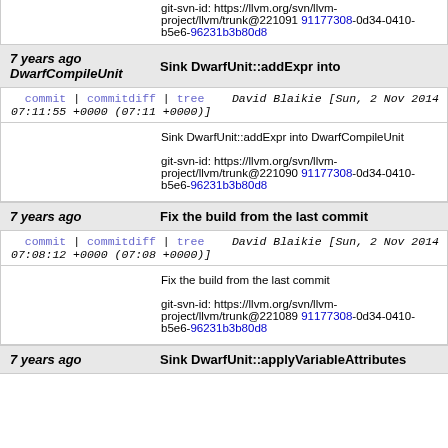git-svn-id: https://llvm.org/svn/llvm-project/llvm/trunk@221091 91177308-0d34-0410-b5e6-96231b3b80d8
7 years ago  Sink DwarfUnit::addExpr into DwarfCompileUnit
commit | commitdiff | tree   David Blaikie [Sun, 2 Nov 2014 07:11:55 +0000 (07:11 +0000)]
Sink DwarfUnit::addExpr into DwarfCompileUnit
git-svn-id: https://llvm.org/svn/llvm-project/llvm/trunk@221090 91177308-0d34-0410-b5e6-96231b3b80d8
7 years ago  Fix the build from the last commit
commit | commitdiff | tree   David Blaikie [Sun, 2 Nov 2014 07:08:12 +0000 (07:08 +0000)]
Fix the build from the last commit
git-svn-id: https://llvm.org/svn/llvm-project/llvm/trunk@221089 91177308-0d34-0410-b5e6-96231b3b80d8
7 years ago  Sink DwarfUnit::applyVariableAttributes